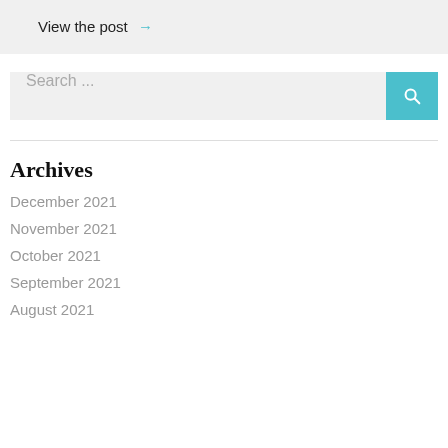View the post →
Search ...
Archives
December 2021
November 2021
October 2021
September 2021
August 2021